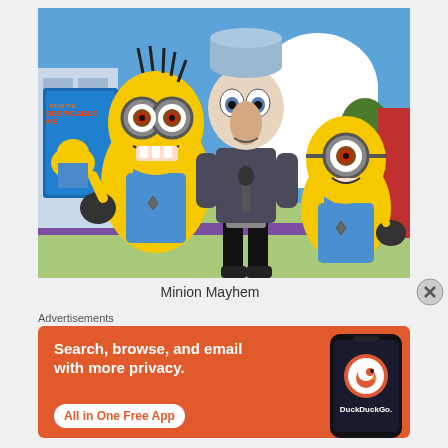[Figure (photo): Photo of two Minion mascots in yellow costumes with blue overalls flanking a person dressed as Gru from Despicable Me, outdoors at what appears to be a Universal Studios event. A Despicable Me movie poster is visible in the background on the left.]
Minion Mayhem
Advertisements
[Figure (infographic): DuckDuckGo advertisement banner with orange background. Left side reads 'Search, browse, and email with more privacy. All in One Free App'. Right side shows a smartphone with DuckDuckGo logo and 'DuckDuckGo.' text.]